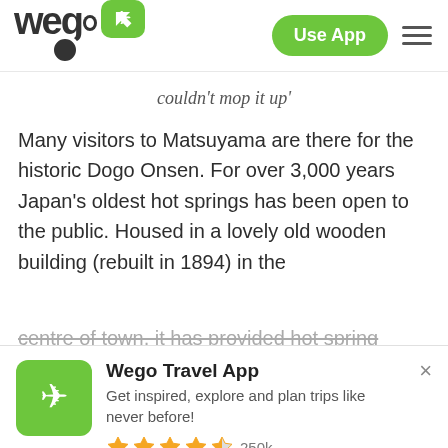wego [logo] Use App [menu]
couldn't mop it up'
Many visitors to Matsuyama are there for the historic Dogo Onsen. For over 3,000 years Japan's oldest hot springs has been open to the public. Housed in a lovely old wooden building (rebuilt in 1894) in the centre of town, it has provided hot spring therapy to...
[Figure (logo): Wego Travel App promotional banner with airplane icon, star rating 250k, and Download App Now button]
Wego Travel App
Get inspired, explore and plan trips like never before!
★★★★½ 250k
DOWNLOAD APP NOW